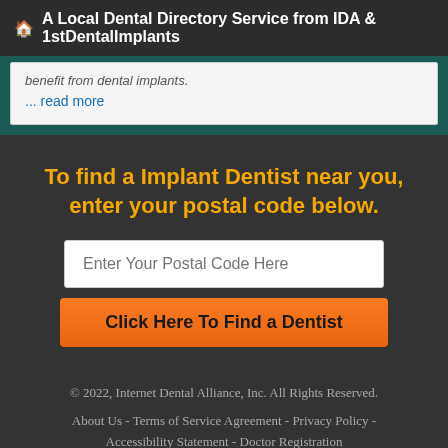A Local Dental Directory Service from IDA & 1stDentalImplants
benefit from dental implants.
... read more
To find a Implant Dentist near you, enter your postal code below.
Enter Your Postal Code Here
Click Here To Find a Dentist
© 2022, Internet Dental Alliance, Inc. All Rights Reserved.
About Us - Terms of Service Agreement - Privacy Policy - Accessibility Statement - Doctor Registration